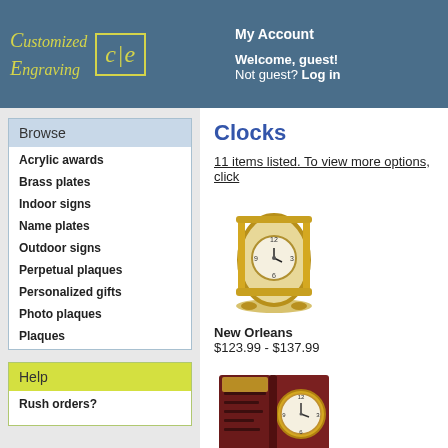Customized Engraving | My Account | Welcome, guest! Not guest? Log in
Browse
Acrylic awards
Brass plates
Indoor signs
Name plates
Outdoor signs
Perpetual plaques
Personalized gifts
Photo plaques
Plaques
Help
Rush orders?
Clocks
11 items listed. To view more options, click
[Figure (photo): Gold/brass mantel clock with glass sides and columns, analog face - New Orleans clock]
New Orleans
$123.99 - $137.99
[Figure (photo): Dark wood book-style clock with gold circular clock face and engraving plaque]